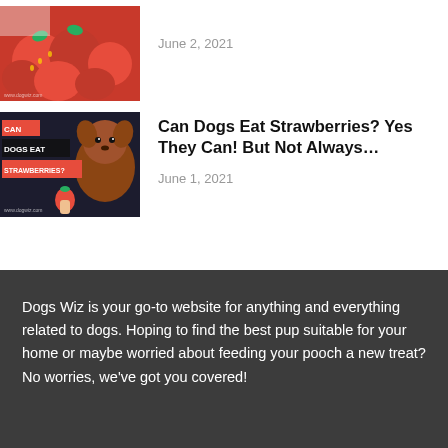[Figure (photo): Thumbnail image of strawberries in a bowl]
June 2, 2021
[Figure (photo): Thumbnail image: dark background with text CAN DOGS EAT STRAWBERRIES? and a dog holding a strawberry]
Can Dogs Eat Strawberries? Yes They Can! But Not Always…
June 1, 2021
Dogs Wiz is your go-to website for anything and everything related to dogs. Hoping to find the best pup suitable for your home or maybe worried about feeding your pooch a new treat? No worries, we've got you covered!